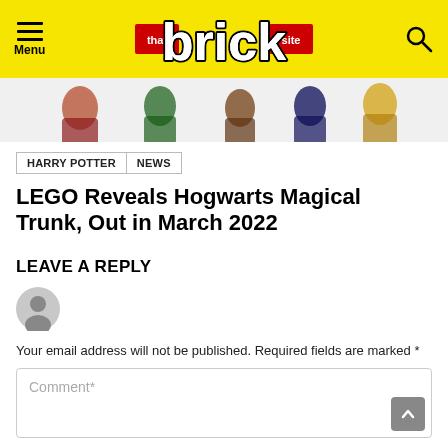that brick site — Menu / Search header
[Figure (photo): Partial view of LEGO Harry Potter minifigures cropped at top of page]
HARRY POTTER
NEWS
LEGO Reveals Hogwarts Magical Trunk, Out in March 2022
LEAVE A REPLY
[Figure (illustration): Default grey user avatar icon (circle with person silhouette)]
Your email address will not be published. Required fields are marked *
Comment*